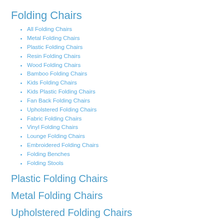Folding Chairs
All Folding Chairs
Metal Folding Chairs
Plastic Folding Chairs
Resin Folding Chairs
Wood Folding Chairs
Bamboo Folding Chairs
Kids Folding Chairs
Kids Plastic Folding Chairs
Fan Back Folding Chairs
Upholstered Folding Chairs
Fabric Folding Chairs
Vinyl Folding Chairs
Lounge Folding Chairs
Embroidered Folding Chairs
Folding Benches
Folding Stools
Plastic Folding Chairs
Metal Folding Chairs
Upholstered Folding Chairs
Wood Folding Chairs